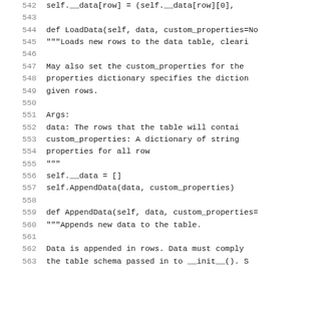Source code listing, lines 542–563, showing LoadData and AppendData method definitions in Python
542     self.__data[row] = (self.__data[row][0],
543
544     def LoadData(self, data, custom_properties=No
545         """Loads new rows to the data table, cleari
546
547         May also set the custom_properties for the
548         properties dictionary specifies the diction
549         given rows.
550
551         Args:
552             data: The rows that the table will contai
553             custom_properties: A dictionary of string
554                                 properties for all row
555         """
556         self.__data = []
557         self.AppendData(data, custom_properties)
558
559     def AppendData(self, data, custom_properties=
560         """Appends new data to the table.
561
562         Data is appended in rows. Data must comply
563         the table schema passed in to __init__(). S